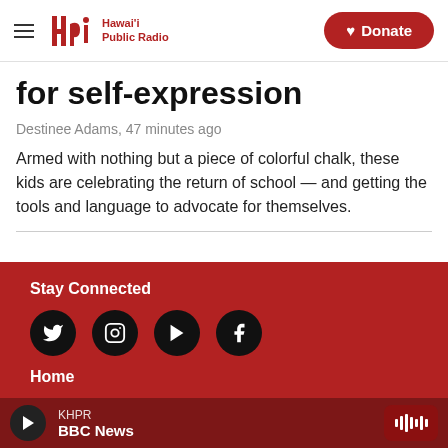Hawai'i Public Radio — Donate
for self-expression
Destinee Adams, 47 minutes ago
Armed with nothing but a piece of colorful chalk, these kids are celebrating the return of school — and getting the tools and language to advocate for themselves.
Stay Connected
Home
KHPR BBC News